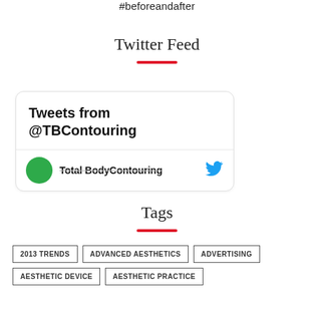#beforeandafter
Twitter Feed
[Figure (screenshot): Twitter feed widget showing 'Tweets from @TBContouring' header with a partially visible user row for Total BodyContouring with green avatar and Twitter bird icon]
Tags
2013 TRENDS
ADVANCED AESTHETICS
ADVERTISING
AESTHETIC DEVICE
AESTHETIC PRACTICE